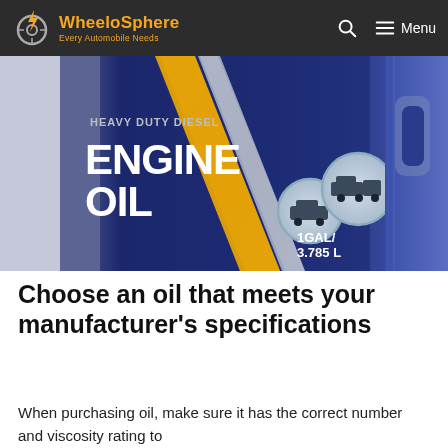WheeloSphere — Every Automobile Needs
[Figure (photo): A blue heavy duty diesel engine oil container (1 GAL / 3.785 L) with gold stripe and vehicle icons (car and truck) on the label.]
Choose an oil that meets your manufacturer's specifications
When purchasing oil, make sure it has the correct number and viscosity rating to